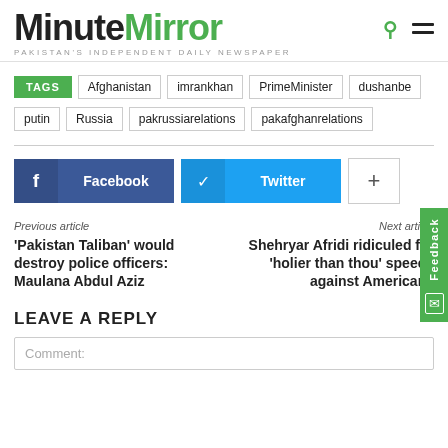MinuteMirror
PAKISTAN'S INDEPENDENT DAILY NEWSPAPER
TAGS Afghanistan imrankhan PrimeMinister dushanbe putin Russia pakrussiarelations pakafghanrelations
Facebook Twitter +
Previous article
'Pakistan Taliban' would destroy police officers: Maulana Abdul Aziz
Next article
Shehryar Afridi ridiculed for 'holier than thou' speech against Americans
LEAVE A REPLY
Comment: